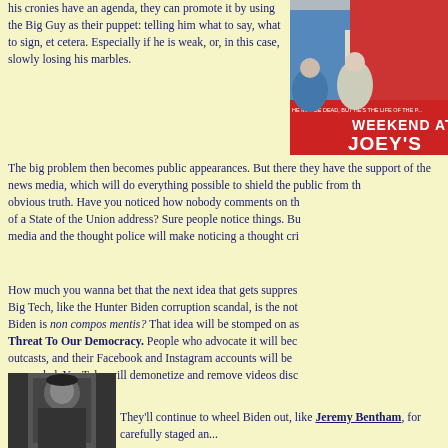his cronies have an agenda, they can promote it by using the Big Guy as their puppet: telling him what to say, what to sign, et cetera. Especially if he is weak, or, in this case, slowly losing his marbles.
[Figure (photo): Movie poster parody titled 'WEEKEND AT JOEY'S' with text 'HE MAY BE DEAD, BUT HE'S THE LIFE OF THE P...' showing two people]
The big problem then becomes public appearances. But there they have the support of the news media, which will do everything possible to shield the public from the obvious truth. Have you noticed how nobody comments on the... of a State of the Union address? Sure people notice things. But the media and the thought police will make noticing a thought cri...
How much you wanna bet that the next idea that gets suppressed by Big Tech, like the Hunter Biden corruption scandal, is the notion that Biden is non compos mentis? That idea will be stomped on as a Threat To Our Democracy. People who advocate it will become outcasts, and their Facebook and Instagram accounts will be suspended. YouTube will demonetize and remove videos discussing the issue.
[Figure (photo): Black and white photograph of an elderly man, referencing Jeremy Bentham]
They'll continue to wheel Biden out, like Jeremy Bentham, for carefully staged an...